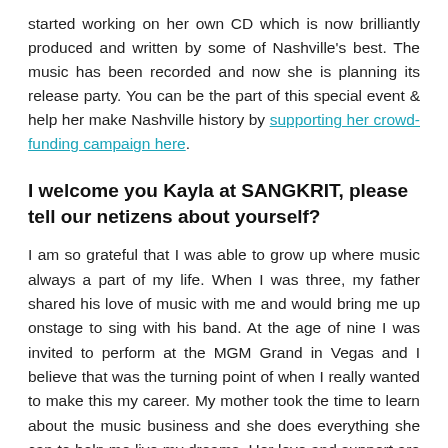started working on her own CD which is now brilliantly produced and written by some of Nashville's best. The music has been recorded and now she is planning its release party. You can be the part of this special event & help her make Nashville history by supporting her crowd-funding campaign here.
I welcome you Kayla at SANGKRIT, please tell our netizens about yourself?
I am so grateful that I was able to grow up where music always a part of my life. When I was three, my father shared his love of music with me and would bring me up onstage to sing with his band. At the age of nine I was invited to perform at the MGM Grand in Vegas and I believe that was the turning point of when I really wanted to make this my career. My mother took the time to learn about the music business and she does everything she can to help me live my dreams. Her love and support are always here for me when the journey gets